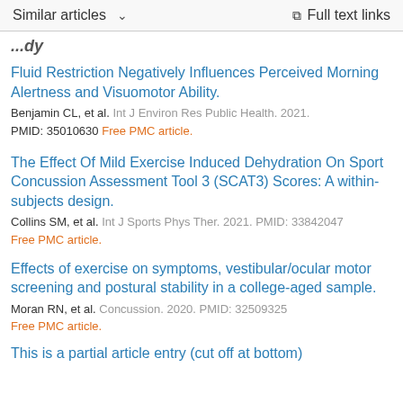Similar articles  ∨   Full text links
...dy
Fluid Restriction Negatively Influences Perceived Morning Alertness and Visuomotor Ability.
Benjamin CL, et al. Int J Environ Res Public Health. 2021.
PMID: 35010630 Free PMC article.
The Effect Of Mild Exercise Induced Dehydration On Sport Concussion Assessment Tool 3 (SCAT3) Scores: A within-subjects design.
Collins SM, et al. Int J Sports Phys Ther. 2021. PMID: 33842047
Free PMC article.
Effects of exercise on symptoms, vestibular/ocular motor screening and postural stability in a college-aged sample.
Moran RN, et al. Concussion. 2020. PMID: 32509325
Free PMC article.
This is a partial article entry (cut off at bottom)